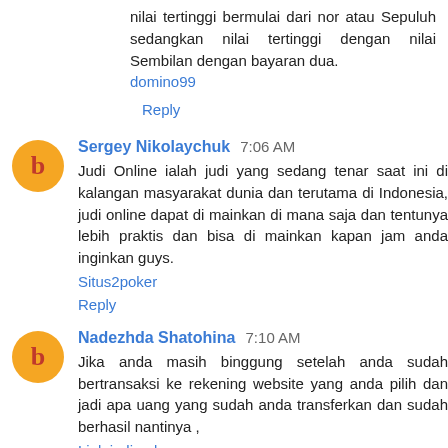nilai tertinggi bermulai dari nor atau Sepuluh sedangkan nilai tertinggi dengan nilai Sembilan dengan bayaran dua.
domino99
Reply
Sergey Nikolaychuk  7:06 AM
Judi Online ialah judi yang sedang tenar saat ini di kalangan masyarakat dunia dan terutama di Indonesia, judi online dapat di mainkan di mana saja dan tentunya lebih praktis dan bisa di mainkan kapan jam anda inginkan guys.
Situs2poker
Reply
Nadezhda Shatohina  7:10 AM
Jika anda masih binggung setelah anda sudah bertransaksi ke rekening website yang anda pilih dan jadi apa uang yang sudah anda transferkan dan sudah berhasil nantinya ,
Link judi poker
Reply